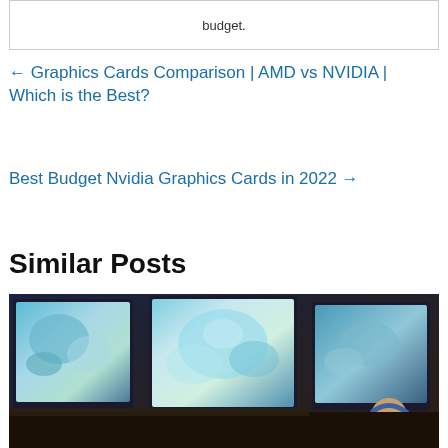budget.
← Graphics Cards Comparison | AMD vs NVIDIA | Which is the Best?
Best Budget Nvidia Graphics Cards in 2022 →
Similar Posts
[Figure (photo): Person with headphones sitting in front of three curved gaming monitors displaying a colorful game]